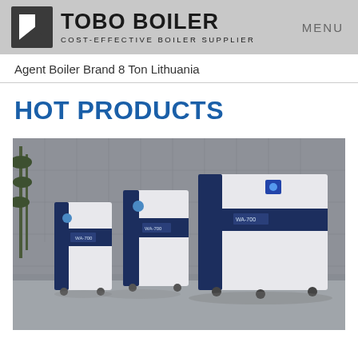TOBO BOILER — COST-EFFECTIVE BOILER SUPPLIER | MENU
Agent Boiler Brand 8 Ton Lithuania
HOT PRODUCTS
[Figure (photo): Three navy blue and white industrial boiler units (labeled WA-700, WA-700, WA-700) on casters, displayed in a showroom with grey tile wall and bamboo plant in background.]